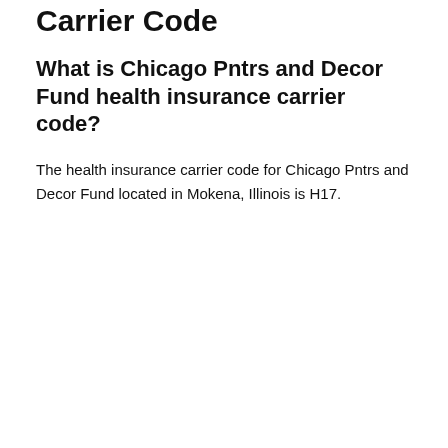Carrier Code
What is Chicago Pntrs and Decor Fund health insurance carrier code?
The health insurance carrier code for Chicago Pntrs and Decor Fund located in Mokena, Illinois is H17.